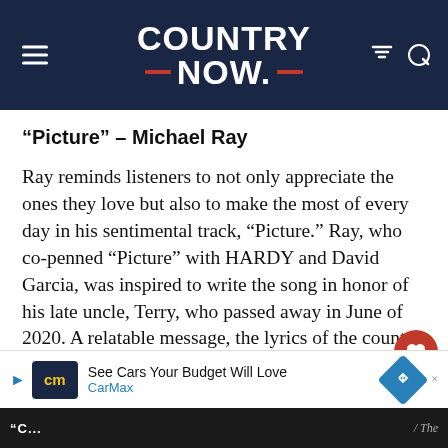COUNTRY NOW
“Picture” – Michael Ray
Ray reminds listeners to not only appreciate the ones they love but also to make the most of every day in his sentimental track, “Picture.” Ray, who co-penned “Picture” with HARDY and David Garcia, was inspired to write the song in honor of his late uncle, Terry, who passed away in June of 2020. A relatable message, the lyrics of the country ballad find Ray reflecting on fond memories after looking through old family photos.
[Figure (other): Advertisement banner: CarMax - See Cars Your Budget Will Love]